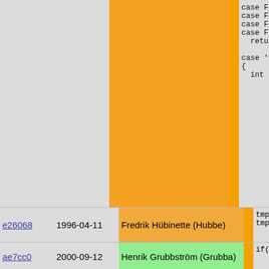| Hash | Date | Author | Code |
| --- | --- | --- | --- |
|  |  |  | case F_BRB
    case F_RET
    case F_CON
    case F_FOR
      return 0

    case '?':
    {
      int tmp1 |
| e26068 | 1996-04-11 | Fredrik Hübinette (Hubbe) | tmp1=cou
    tmp2=cou |
| ae7cc0 | 2000-09-12 | Henrik Grubbström (Grubba) | if(tmp1= |
| 5267b7 | 1995-08-09 | Fredrik Hübinette (Hubbe) | if(tmp1
    return t
    } |
| b95bef | 1996-03-29 | Fredrik Hübinette (Hubbe) | case F_PUS
    return |
| cd0616 | 2000-03-01 | Fredrik Hübinette (Hubbe) | case F_APP
    if(CAR(n
      CAR(
      CAR(n
      n->ty
    return
    return |